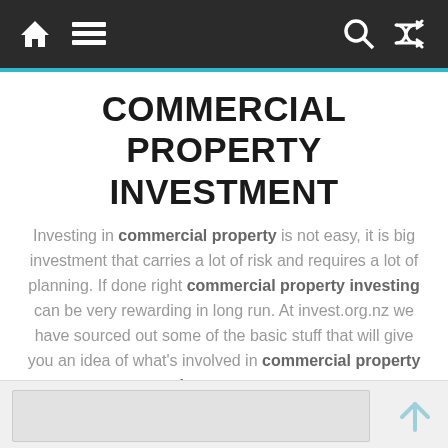Navigation bar with home, menu, search, and shuffle icons
COMMERCIAL PROPERTY INVESTMENT
Investing in commercial property is not easy, it is big investment that carries a lot of risk and requires a lot of planning. If done right commercial property investing can be very rewarding in long run. At invest.org.nz we have sourced out some of the basic stuff that will give you an idea of what's involved in commercial property investment.
[Figure (other): Partial image visible at bottom of page]